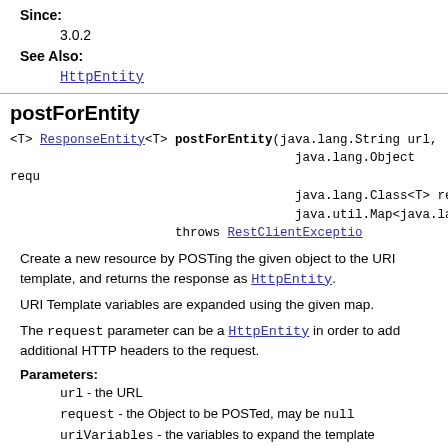Since:
3.0.2
See Also:
HttpEntity
postForEntity
<T> ResponseEntity<T> postForEntity(java.lang.String url, java.lang.Object request, java.lang.Class<T> responseType, java.util.Map<java.lang... throws RestClientException
Create a new resource by POSTing the given object to the URI template, and returns the response as HttpEntity.
URI Template variables are expanded using the given map.
The request parameter can be a HttpEntity in order to add additional HTTP headers to the request.
Parameters:
url - the URL
request - the Object to be POSTed, may be null
uriVariables - the variables to expand the template